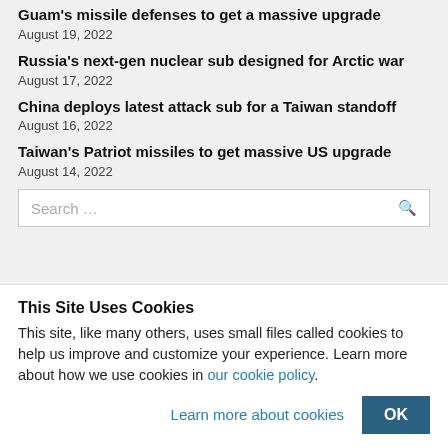Guam's missile defenses to get a massive upgrade
August 19, 2022
Russia's next-gen nuclear sub designed for Arctic war
August 17, 2022
China deploys latest attack sub for a Taiwan standoff
August 16, 2022
Taiwan's Patriot missiles to get massive US upgrade
August 14, 2022
Search ...
This Site Uses Cookies
This site, like many others, uses small files called cookies to help us improve and customize your experience. Learn more about how we use cookies in our cookie policy.
Learn more about cookies
OK